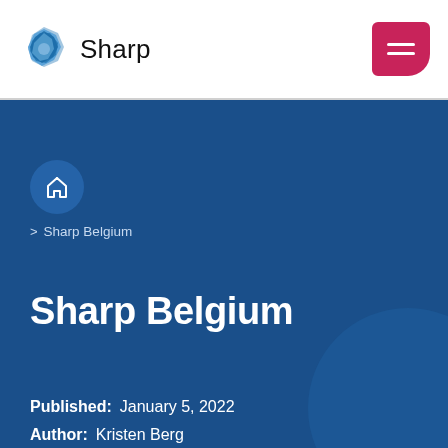[Figure (logo): Sharp logo: blue geometric diamond/pentagon shape icon followed by the word 'Sharp' in black text]
[Figure (other): Pink/magenta hamburger menu button with two white horizontal lines, rounded bottom-right corner]
> Sharp Belgium
Sharp Belgium
Published:  January 5, 2022
Author:  Kristen Berg